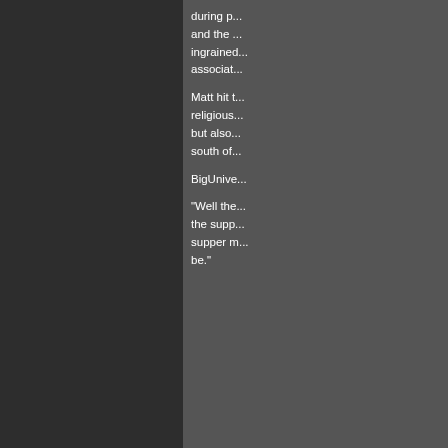during p... and the ... ingrained... associat...
Matt hit t... religious... but also... south of...
BigUnive...
"Well the... the supp... supper m... be."
Login or register to post comments
#16
MattShizzle
Posts: 7966
Joined: 2006-03-31
Offline
Technica... and yea... one?